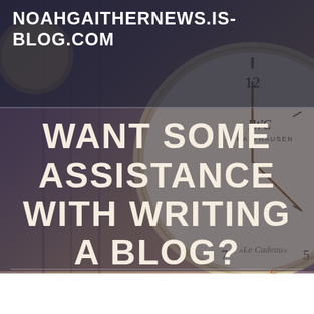NOAHGAITHERNEWS.IS-BLOG.COM
[Figure (photo): Background photo of antique clocks including an IWC 'Le Cadeau' pocket watch and other timepieces, with dark overlay. Text reads: WANT SOME ASSISTANCE WITH WRITING A BLOG? OBTAIN IT ON THIS PAGE]
WANT SOME ASSISTANCE WITH WRITING A BLOG? OBTAIN IT ON THIS PAGE